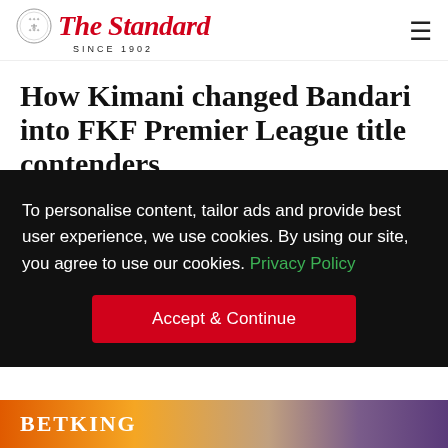The Standard — SINCE 1902
How Kimani changed Bandari into FKF Premier League title contenders
Football | By Kipchumba Ogembo | May 16, 2022
To personalise content, tailor ads and provide best user experience, we use cookies. By using our site, you agree to use our cookies. Privacy Policy
Accept & Continue